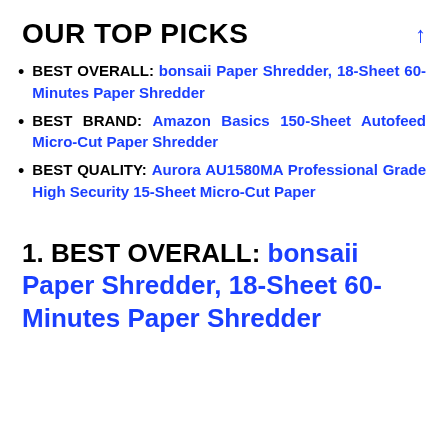OUR TOP PICKS
BEST OVERALL: bonsaii Paper Shredder, 18-Sheet 60-Minutes Paper Shredder
BEST BRAND: Amazon Basics 150-Sheet Autofeed Micro-Cut Paper Shredder
BEST QUALITY: Aurora AU1580MA Professional Grade High Security 15-Sheet Micro-Cut Paper
1. BEST OVERALL: bonsaii Paper Shredder, 18-Sheet 60-Minutes Paper Shredder